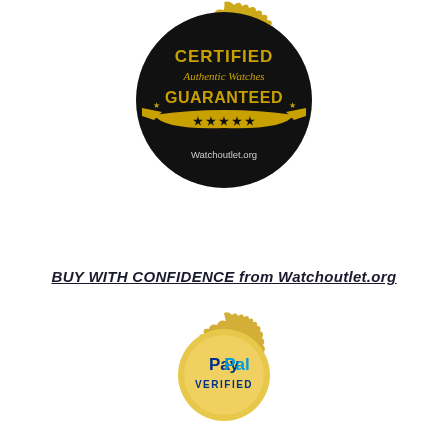[Figure (logo): Certified Authentic Watches Guaranteed badge — circular black and gold seal with star border, gold ribbon banner, five gold stars, and text 'Watchoutlet.org']
BUY WITH CONFIDENCE from Watchoutlet.org
[Figure (logo): PayPal Verified gold seal badge — gold scalloped-edge circle with 'PayPal VERIFIED' text in blue and dark blue]